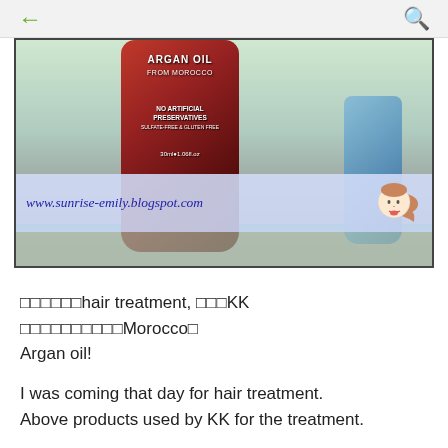← (back) | (search)
[Figure (photo): A bottle of Argan Oil from Morocco with red label showing 'NO ARTIFICIAL PRESERVATIVES, 30ml/1.06fl.oz', placed on a shelf next to a blue bottle container. Website watermark: www.sunrise-emily.blogspot.com with a cartoon avatar of a girl.]
······hair treatment, ···KK ··········Morocco· Argan oil!
I was coming that day for hair treatment. Above products used by KK for the treatment.